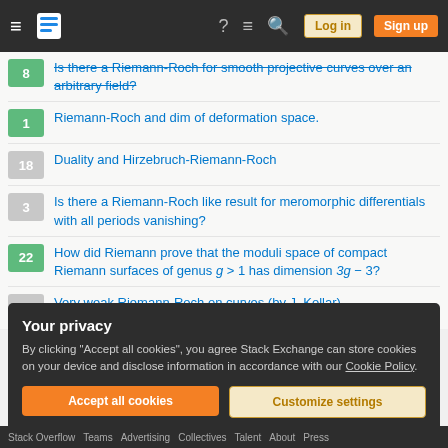Stack Exchange navigation bar with Log in and Sign up buttons
8 — Is there a Riemann-Roch for smooth projective curves over an arbitrary field?
1 — Riemann-Roch and dim of deformation space.
18 — Duality and Hirzebruch-Riemann-Roch
3 — Is there a Riemann-Roch like result for meromorphic differentials with all periods vanishing?
22 — How did Riemann prove that the moduli space of compact Riemann surfaces of genus g > 1 has dimension 3g − 3?
2 — Very weak Riemann-Roch on curves (by J. Kollar)
Your privacy
By clicking "Accept all cookies", you agree Stack Exchange can store cookies on your device and disclose information in accordance with our Cookie Policy.
Accept all cookies   Customize settings
Stack Overflow   Teams   Advertising   Collectives   Talent   About   Press